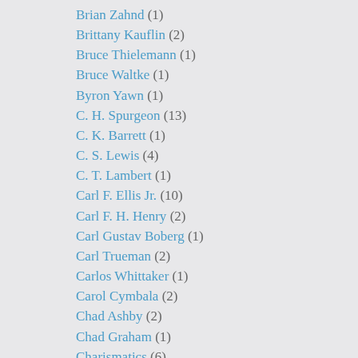Brian Zahnd (1)
Brittany Kauflin (2)
Bruce Thielemann (1)
Bruce Waltke (1)
Byron Yawn (1)
C. H. Spurgeon (13)
C. K. Barrett (1)
C. S. Lewis (4)
C. T. Lambert (1)
Carl F. Ellis Jr. (10)
Carl F. H. Henry (2)
Carl Gustav Boberg (1)
Carl Trueman (2)
Carlos Whittaker (1)
Carol Cymbala (2)
Chad Ashby (2)
Chad Graham (1)
Charismatics (6)
Charitie Lees Bancroft (1)
Charles Spurgeon (1)